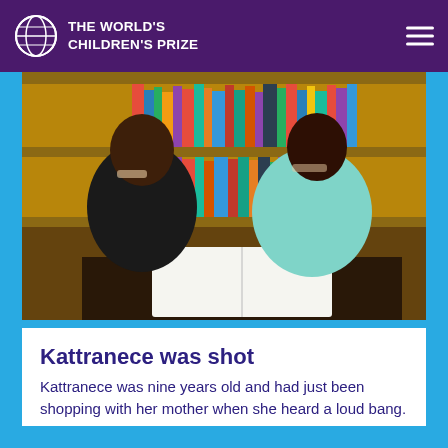THE WORLD'S CHILDREN'S PRIZE
[Figure (photo): Two Black women sitting at a table in a library with bookshelves behind them, both smiling and laughing, with an open book on the table between them. One woman wears a black top and the other wears a light teal/mint sleeveless top.]
Kattranece was shot
Kattranece was nine years old and had just been shopping with her mother when she heard a loud bang.